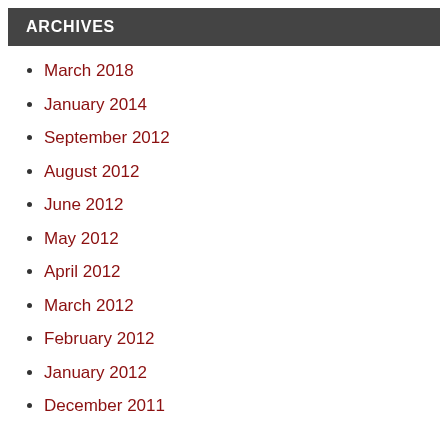ARCHIVES
March 2018
January 2014
September 2012
August 2012
June 2012
May 2012
April 2012
March 2012
February 2012
January 2012
December 2011